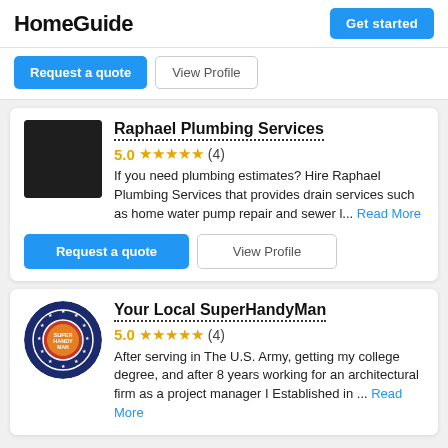HomeGuide  Get started
Request a quote  View Profile
Raphael Plumbing Services
5.0 ★★★★★ (4)
If you need plumbing estimates? Hire Raphael Plumbing Services that provides drain services such as home water pump repair and sewer l... Read More
Request a quote  View Profile
Your Local SuperHandyMan
5.0 ★★★★★ (4)
After serving in The U.S. Army, getting my college degree, and after 8 years working for an architectural firm as a project manager I Established in ... Read More